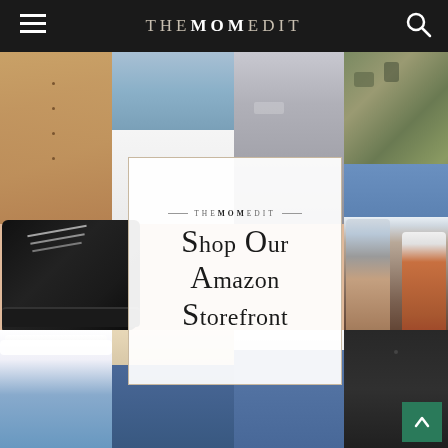THE MOM EDIT
[Figure (photo): Fashion collage on a peach/blush background featuring clothing items (tan shirt, denim jacket, grey jeans, camo jacket), shoes (black combat boot, checkered Vans slip-on, blue denim clog sandal), nail polish bottles, and bottom row of models wearing jeans]
THE MOM EDIT — Shop Our Amazon Storefront